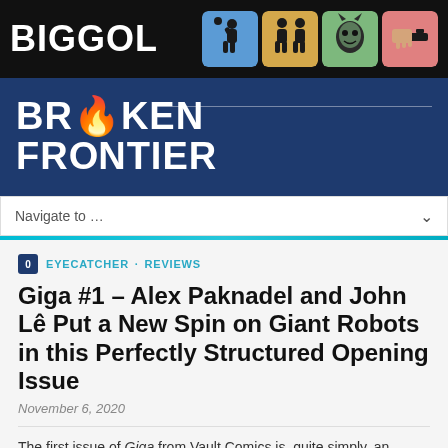[Figure (logo): BIGGOL banner with four colored illustrated icons on black background]
[Figure (logo): Broken Frontier logo on dark navy blue background with horizontal divider line]
Navigate to ...
EYECATCHER · REVIEWS
Giga #1 – Alex Paknadel and John Lê Put a New Spin on Giant Robots in this Perfectly Structured Opening Issue
November 6, 2020
The first issue of Giga from Vault Comics is, quite simply, an object lesson